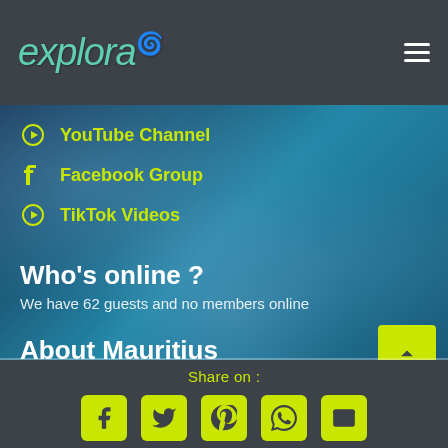explora
YouTube Channel
Facebook Group
TikTok Videos
Who's online ?
We have 62 guests and no members online
About Mauritius
Most luxury hotels in Mauritius
Things to do in Mauritius
Share on :